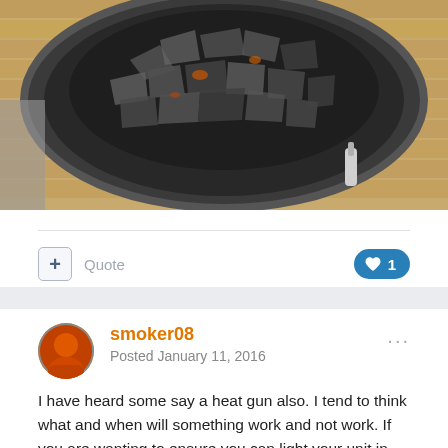[Figure (photo): Top-down view of a charcoal grill/smoker with charcoal briquettes inside a round metal bowl, placed on a wooden deck surface]
+ Quote
1
smoker08
Posted January 11, 2016
I have heard some say a heat gun also. I tend to think what and when will something work and not work. If you are wanting to ensure you can light your unit in case of a power outage then you need something that will start it without electricity. If you don't smoke you also need to be sure that you know where an ignition source is for your desired starting material. For this reason I shy way from anything that uses electricity to start my fire. I also